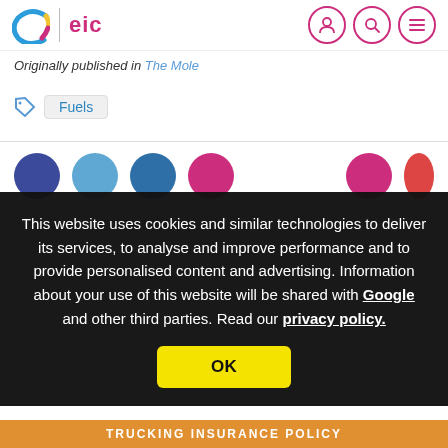eic — Originally published in The Mole
Originally published in The Mole
Fuels
This website uses cookies and similar technologies to deliver its services, to analyse and improve performance and to provide personalised content and advertising. Information about your use of this website will be shared with Google and other third parties. Read our privacy policy.
OK